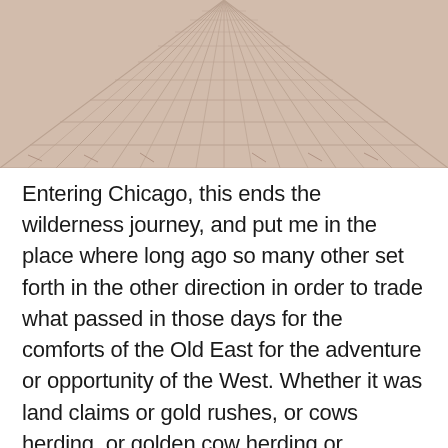[Figure (photo): Aerial perspective view of pink/beige brick or stone paving tiles receding into the distance, with diagonal lines creating a vanishing point pattern.]
Entering Chicago, this ends the wilderness journey, and put me in the place where long ago so many other set forth in the other direction in order to trade what passed in those days for the comforts of the Old East for the adventure or opportunity of the West. Whether it was land claims or gold rushes, or cows herding, or golden cow herding or whatever. For many decades Chicago launched people out into the steppes of America to either raise up